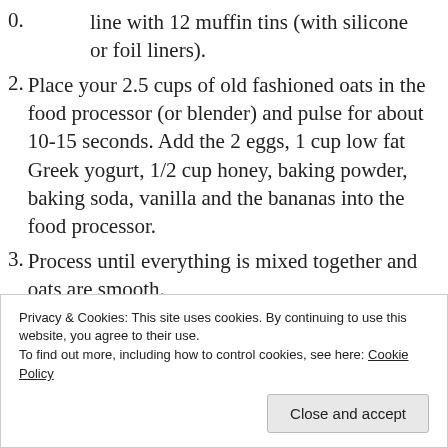line with 12 muffin tins (with silicone or foil liners).
Place your 2.5 cups of old fashioned oats in the food processor (or blender) and pulse for about 10-15 seconds. Add the 2 eggs, 1 cup low fat Greek yogurt, 1/2 cup honey, baking powder, baking soda, vanilla and the bananas into the food processor.
Process until everything is mixed together and oats are smooth.
At this step, you can either add unsweetened dark chocolate chips (which is what I did), walnuts, toasted almonds or any other nut or chocolate you'd like in the batter.
Divide batter among cupcake liners, and bake for 18-20 minutes until toothpick comes out clean.
Privacy & Cookies: This site uses cookies. By continuing to use this website, you agree to their use.
To find out more, including how to control cookies, see here: Cookie Policy